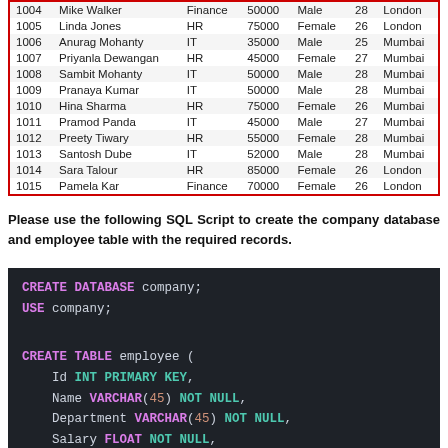| Id | Name | Department | Salary | Gender | Age | City |
| --- | --- | --- | --- | --- | --- | --- |
| 1004 | Mike Walker | Finance | 50000 | Male | 28 | London |
| 1005 | Linda Jones | HR | 75000 | Female | 26 | London |
| 1006 | Anurag Mohanty | IT | 35000 | Male | 25 | Mumbai |
| 1007 | Priyanla Dewangan | HR | 45000 | Female | 27 | Mumbai |
| 1008 | Sambit Mohanty | IT | 50000 | Male | 28 | Mumbai |
| 1009 | Pranaya Kumar | IT | 50000 | Male | 28 | Mumbai |
| 1010 | Hina Sharma | HR | 75000 | Female | 26 | Mumbai |
| 1011 | Pramod Panda | IT | 45000 | Male | 27 | Mumbai |
| 1012 | Preety Tiwary | HR | 55000 | Female | 28 | Mumbai |
| 1013 | Santosh Dube | IT | 52000 | Male | 28 | Mumbai |
| 1014 | Sara Talour | HR | 85000 | Female | 26 | London |
| 1015 | Pamela Kar | Finance | 70000 | Female | 26 | London |
Please use the following SQL Script to create the company database and employee table with the required records.
[Figure (screenshot): Code block showing SQL: CREATE DATABASE company; USE company; CREATE TABLE employee ( Id INT PRIMARY KEY, Name VARCHAR(45) NOT NULL, Department VARCHAR(45) NOT NULL, Salary FLOAT NOT NULL,]